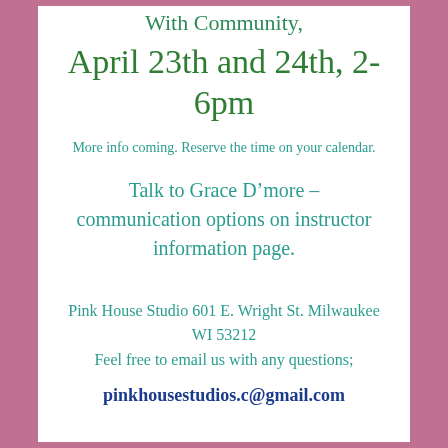With Community,
April 23th and 24th, 2-6pm
More info coming. Reserve the time on your calendar.
Talk to Grace D’more – communication options on instructor information page.
Pink House Studio 601 E. Wright St. Milwaukee WI 53212
Feel free to email us with any questions;
pinkhousestudios.c@gmail.com